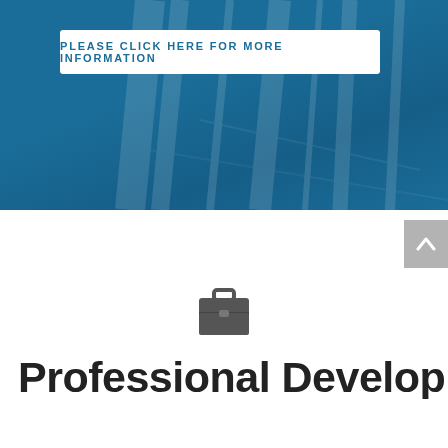[Figure (photo): Blue background section with a person wearing dark clothing, partially visible, creating a teal/blue overlay effect]
PLEASE CLICK HERE FOR MORE INFORMATION
[Figure (illustration): Briefcase/suitcase icon in dark gray]
Professional Develop